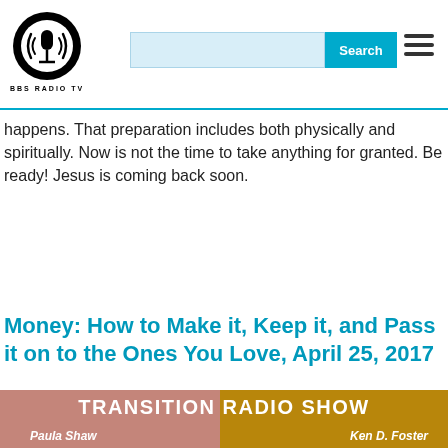[Figure (logo): BBS Radio TV logo — circular black and white microphone icon with radio waves, with text 'BBS RADIO TV' below]
happens. That preparation includes both physically and spiritually. Now is not the time to take anything for granted. Be ready! Jesus is coming back soon.
Read More
Add New Comment
Money: How to Make it, Keep it, and Pass it on to the Ones You Love, April 25, 2017
[Figure (photo): Transition Radio Show banner with Paula Shaw and Ken D. Foster, pink/gold split background]